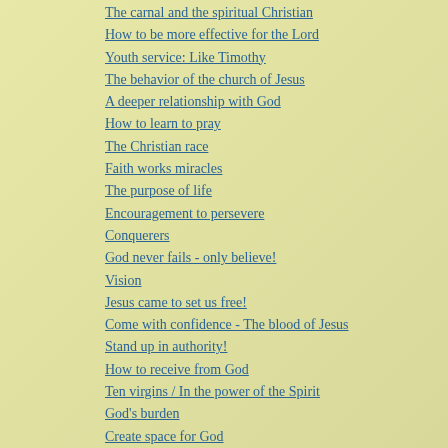The carnal and the spiritual Christian
How to be more effective for the Lord
Youth service: Like Timothy
The behavior of the church of Jesus
A deeper relationship with God
How to learn to pray
The Christian race
Faith works miracles
The purpose of life
Encouragement to persevere
Conquerers
God never fails - only believe!
Vision
Jesus came to set us free!
Come with confidence - The blood of Jesus
Stand up in authority!
How to receive from God
Ten virgins / In the power of the Spirit
God's burden
Create space for God
A crucified life